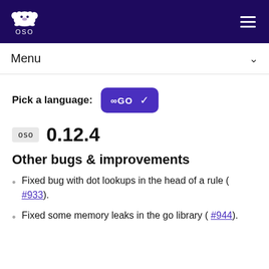oso
Menu
Pick a language: GO
oso 0.12.4
Other bugs & improvements
Fixed bug with dot lookups in the head of a rule ( #933).
Fixed some memory leaks in the go library ( #944).